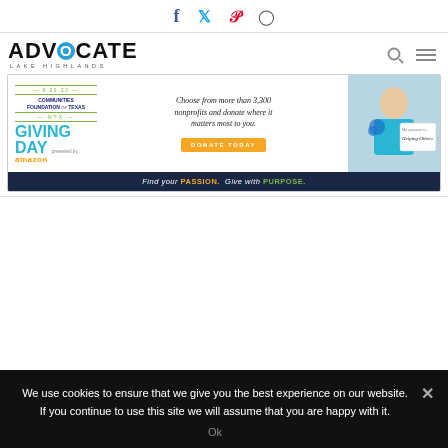Social icons: Facebook, Twitter, Pinterest, Instagram
[Figure (logo): Advocate Lake Highlands logo with stylized blue circle O]
[Figure (infographic): NTX Giving Day advertisement banner - 9.22.22 Communities Foundation of Texas NTX Giving Day presented by Amazon. Choose from more than 3,300 nonprofits and donate where it matters most to you. DONATE TODAY. Find your PASSION. Give with PURPOSE.]
We use cookies to ensure that we give you the best experience on our website. If you continue to use this site we will assume that you are happy with it.
Ok